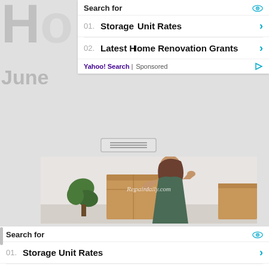[Figure (screenshot): Screenshot of a webpage with sponsored Yahoo! Search ads. Top ad block shows 'Search for' header with eye icon, two sponsored links: '01. Storage Unit Rates' and '02. Latest Home Renovation Grants', each with a cyan chevron. Footer shows 'Yahoo! Search | Sponsored' with play icon. Background shows partial large letter 'H' and word 'June'. A photo of a woman holding a cardboard moving box, with 'Repairdaily.com' watermark, is shown in the middle. A second identical ad block appears at the bottom with 'As Seen' text and 'AP' logo.]
Search for
01.  Storage Unit Rates
02.  Latest Home Renovation Grants
Yahoo! Search | Sponsored
Repairdaily.com
Search for
01.  Storage Unit Rates
02.  Latest Home Renovation Grants
Yahoo! Search | Sponsored
As Seen
AP